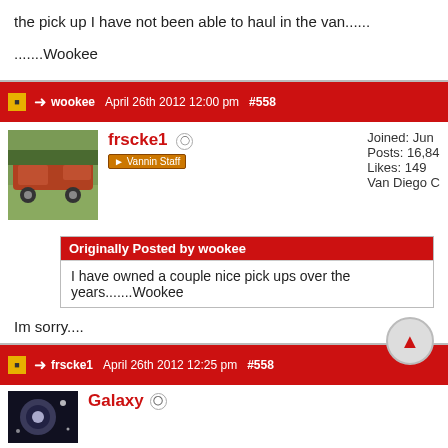the pick up I have not been able to haul in the van......
.......Wookee
wookee  April 26th 2012 12:00 pm  #558
frscke1
Vannin Staff
Joined: Jun
Posts: 16,84
Likes: 149
Van Diego C
Originally Posted by wookee
I have owned a couple nice pick ups over the years.......Wookee
Im sorry....
frscke1  April 26th 2012 12:25 pm  #558
Galaxy
Joined:
Posts: